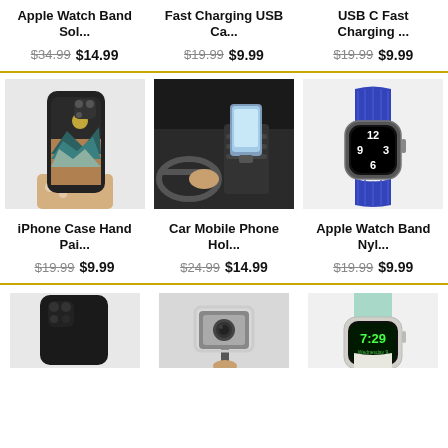Apple Watch Band Sol...
$34.99 $14.99
Fast Charging USB Ca...
$19.99 $9.99
USB C Fast Charging ...
$19.99 $9.99
[Figure (photo): Hand holding an iPhone with a mountain/landscape painted case]
[Figure (photo): Car mobile phone holder mounted on car vent with a phone]
[Figure (photo): Apple Watch with blue nylon braided solo loop band]
iPhone Case Hand Pai...
$19.99 $9.99
Car Mobile Phone Hol...
$24.99 $14.99
Apple Watch Band Nyl...
$19.99 $9.99
[Figure (photo): Black iPhone case back view]
[Figure (photo): GoPro camera on a selfie stick held by hand]
[Figure (photo): Apple Watch with light teal/white sport band showing 7:29]